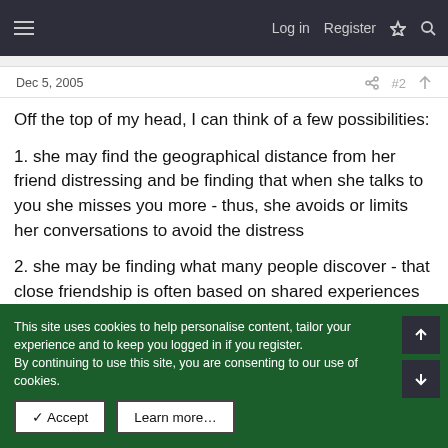Log in  Register
Dec 5, 2005   #2
Off the top of my head, I can think of a few possibilities:
1. she may find the geographical distance from her friend distressing and be finding that when she talks to you she misses you more - thus, she avoids or limits her conversations to avoid the distress
2. she may be finding what many people discover - that close friendship is often based on shared experiences and that living at a distance makes it difficult to continue that aspect of the
This site uses cookies to help personalise content, tailor your experience and to keep you logged in if you register.
By continuing to use this site, you are consenting to our use of cookies.